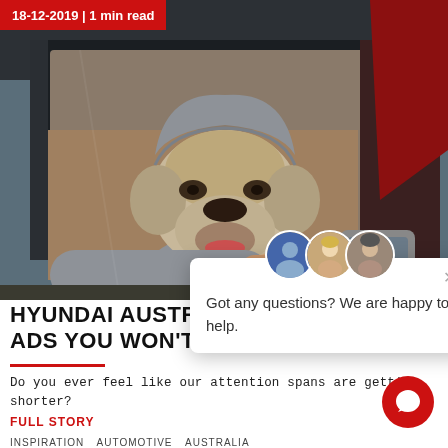18-12-2019 | 1 min read
[Figure (photo): A bulldog wearing a gray hoodie and red bandana leaning out of a car window]
HYUNDAI AUSTRALIA C... ADS YOU WON'T FORGE...
[Figure (screenshot): Chat popup with avatars saying 'Got any questions? We are happy to help.']
Do you ever feel like our attention spans are getting shorter?
FULL STORY
INSPIRATION   AUTOMOTIVE   AUSTRALIA